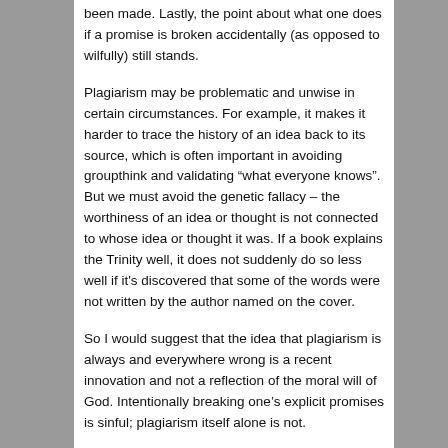been made. Lastly, the point about what one does if a promise is broken accidentally (as opposed to wilfully) still stands.
Plagiarism may be problematic and unwise in certain circumstances. For example, it makes it harder to trace the history of an idea back to its source, which is often important in avoiding groupthink and validating “what everyone knows”. But we must avoid the genetic fallacy – the worthiness of an idea or thought is not connected to whose idea or thought it was. If a book explains the Trinity well, it does not suddenly do so less well if it's discovered that some of the words were not written by the author named on the cover.
So I would suggest that the idea that plagiarism is always and everywhere wrong is a recent innovation and not a reflection of the moral will of God. Intentionally breaking one’s explicit promises is sinful; plagiarism itself alone is not.
This entry was posted in Personal by gerv. Bookmark the permalink.